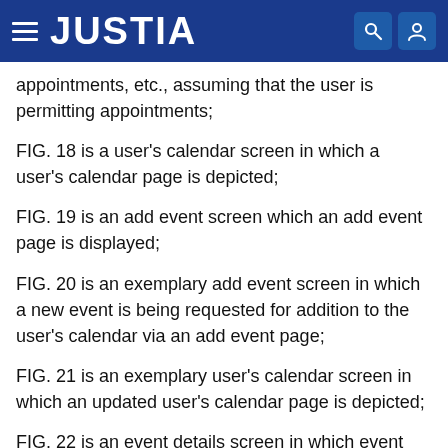JUSTIA
appointments, etc., assuming that the user is permitting appointments;
FIG. 18 is a user's calendar screen in which a user's calendar page is depicted;
FIG. 19 is an add event screen which an add event page is displayed;
FIG. 20 is an exemplary add event screen in which a new event is being requested for addition to the user's calendar via an add event page;
FIG. 21 is an exemplary user's calendar screen in which an updated user's calendar page is depicted;
FIG. 22 is an event details screen in which event details pertaining to the event scheduled with respect to FIG. 20